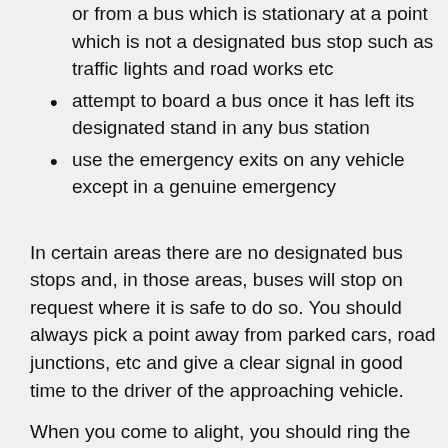attempt to board or alight from a moving bus or from a bus which is stationary at a point which is not a designated bus stop such as traffic lights and road works etc
attempt to board a bus once it has left its designated stand in any bus station
use the emergency exits on any vehicle except in a genuine emergency
In certain areas there are no designated bus stops and, in those areas, buses will stop on request where it is safe to do so. You should always pick a point away from parked cars, road junctions, etc and give a clear signal in good time to the driver of the approaching vehicle.
When you come to alight, you should ring the bell once in good time to alert the driver.